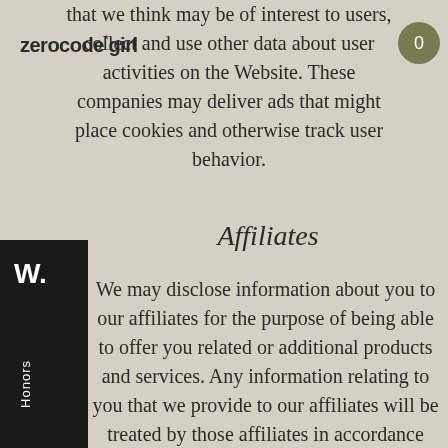that we think may be of interest to users, collect and use other data about user activities on the Website. These companies may deliver ads that might place cookies and otherwise track user behavior.
Affiliates
We may disclose information about you to our affiliates for the purpose of being able to offer you related or additional products and services. Any information relating to you that we provide to our affiliates will be treated by those affiliates in accordance with the terms of this Policy.